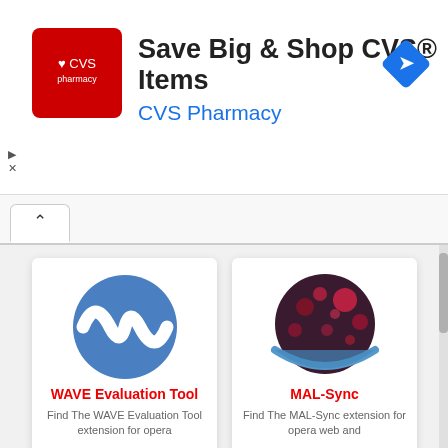[Figure (infographic): CVS Pharmacy advertisement banner with red CVS pharmacy logo, text 'Save Big & Shop CVS® Items' and 'CVS Pharmacy' in blue, and a blue diamond navigation icon on the right]
[Figure (logo): WAVE Evaluation Tool extension logo - blue circle with white W wave shape]
WAVE Evaluation Tool
Find The WAVE Evaluation Tool extension for opera
[Figure (logo): MAL-Sync extension logo - dark red/maroon circle with red bokeh lights and blue arc at bottom]
MAL-Sync
Find The MAL-Sync extension for opera web and
[Figure (logo): Eye/circle logo in teal and light blue concentric rings with eye icon]
[Figure (logo): Black square with white lowercase letter h in serif font]